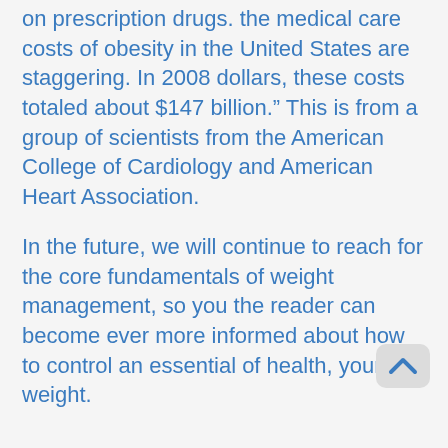on prescription drugs. the medical care costs of obesity in the United States are staggering. In 2008 dollars, these costs totaled about $147 billion." This is from a group of scientists from the American College of Cardiology and American Heart Association.
In the future, we will continue to reach for the core fundamentals of weight management, so you the reader can become ever more informed about how to control an essential of health, your weight.
1. Johnston JD. Physiological responses to food intake throughout the day. Nutrition research reviews 2014;27:107-18.
2. Reid KJ, Baron KG, Zee PC. Meal timing